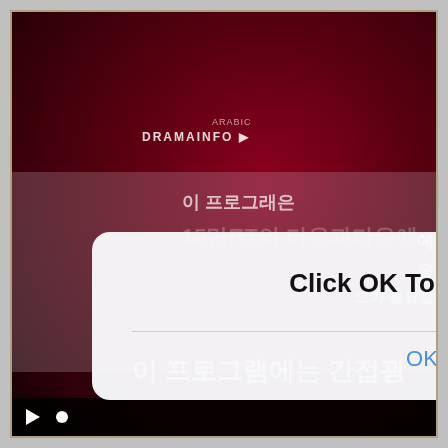[Figure (screenshot): A mobile or web video player showing a dark red/maroon Korean drama content screen (DRAMAINFO channel), with Korean text overlays and a player control bar at the bottom. An iOS-style dialog box overlays the video with the prompt 'Click OK To Continue' and an OK button.]